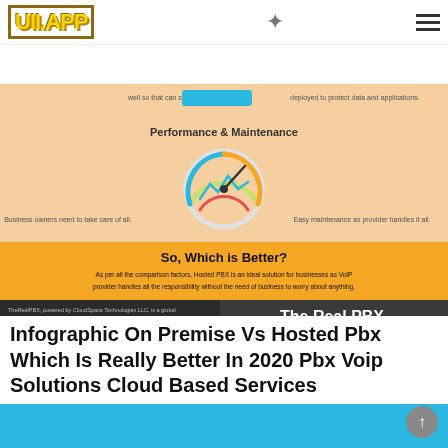UII.APP
[Figure (infographic): Infographic comparing On-Premise PBX vs Hosted PBX. Shows Performance & Maintenance section with a circular gauge icon. Left side: 'Business owners need to take care of all.' Right side: 'Easy maintenance as provider handles it all.' Yellow/orange 'So, Which is Better?' banner with text: 'As per all the comparison factors, Hosted PBX is an ideal solution for businesses as VoIP provider handles all the responsibility without the need of business to worry about anything.' Dark footer with TheRealPBX logo, contact info: GET IN TOUCH! Call: +1-888-892-0046 or write us at: sales@therealpbx.com. Reference: http://www.slideshare.net/BkitPChannel/on-premise-vs-hosted-pbx-which-one-is-a-better-voip]
Infographic On Premise Vs Hosted Pbx Which Is Really Better In 2020 Pbx Voip Solutions Cloud Based Services